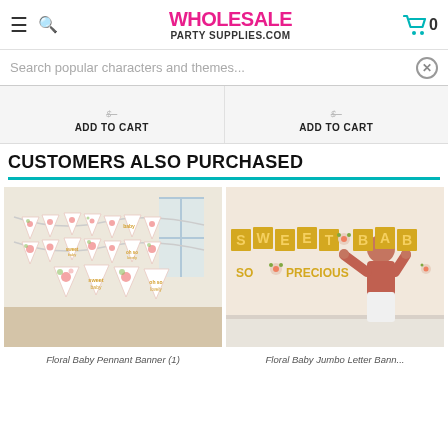WHOLESALE PARTY SUPPLIES.COM
Search popular characters and themes...
ADD TO CART   ADD TO CART
CUSTOMERS ALSO PURCHASED
[Figure (photo): Floral baby pennant banner hung in a room with pink floral triangle pennants]
[Figure (photo): Woman posting gold letter banner reading SWEET BABY SO PRECIOUS on a wall]
Floral Baby Pennant Banner (1)
Floral Baby Jumbo Letter Bann...